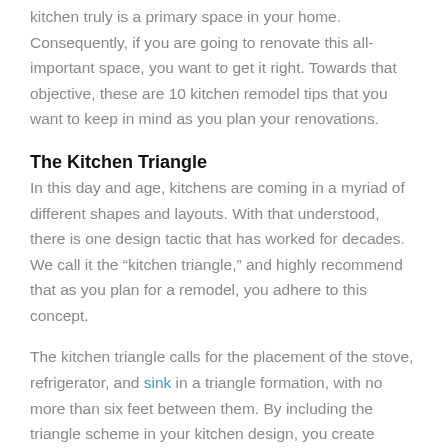kitchen truly is a primary space in your home. Consequently, if you are going to renovate this all-important space, you want to get it right. Towards that objective, these are 10 kitchen remodel tips that you want to keep in mind as you plan your renovations.
The Kitchen Triangle
In this day and age, kitchens are coming in a myriad of different shapes and layouts. With that understood, there is one design tactic that has worked for decades. We call it the “kitchen triangle,” and highly recommend that as you plan for a remodel, you adhere to this concept.
The kitchen triangle calls for the placement of the stove, refrigerator, and sink in a triangle formation, with no more than six feet between them. By including the triangle scheme in your kitchen design, you create highly functional, efficient workspace that